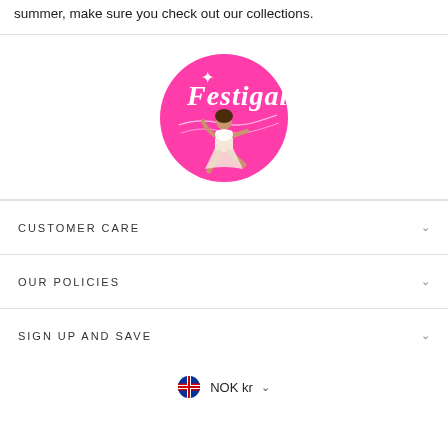summer, make sure you check out our collections.
[Figure (logo): Festigal logo — pink circle with white script text 'Festigal', sparkle stars, and an illustrated woman in white outfit with music notes]
CUSTOMER CARE
OUR POLICIES
SIGN UP AND SAVE
NOK kr